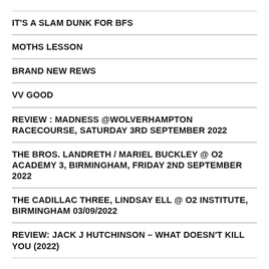IT'S A SLAM DUNK FOR BFS
MOTHS LESSON
BRAND NEW REWS
VV GOOD
REVIEW : MADNESS @WOLVERHAMPTON RACECOURSE, SATURDAY 3RD SEPTEMBER 2022
THE BROS. LANDRETH / MARIEL BUCKLEY @ O2 ACADEMY 3, BIRMINGHAM, FRIDAY 2ND SEPTEMBER 2022
THE CADILLAC THREE, LINDSAY ELL @ O2 INSTITUTE, BIRMINGHAM 03/09/2022
REVIEW: JACK J HUTCHINSON – WHAT DOESN'T KILL YOU (2022)